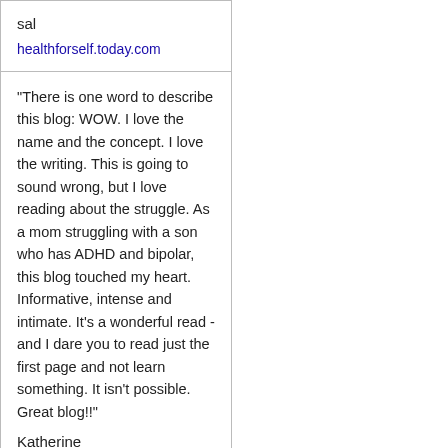sal
healthforself.today.com
"There is one word to describe this blog: WOW. I love the name and the concept. I love the writing. This is going to sound wrong, but I love reading about the struggle. As a mom struggling with a son who has ADHD and bipolar, this blog touched my heart. Informative, intense and intimate. It's a wonderful read - and I dare you to read just the first page and not learn something. It isn't possible. Great blog!!"
Katherine
onecreativequeen.blogspot.com